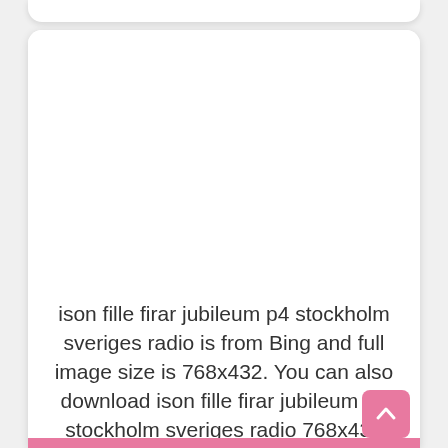ison fille firar jubileum p4 stockholm sveriges radio is from Bing and full image size is 768x432. You can also download ison fille firar jubileum p4 stockholm sveriges radio 768x432 here with full size from